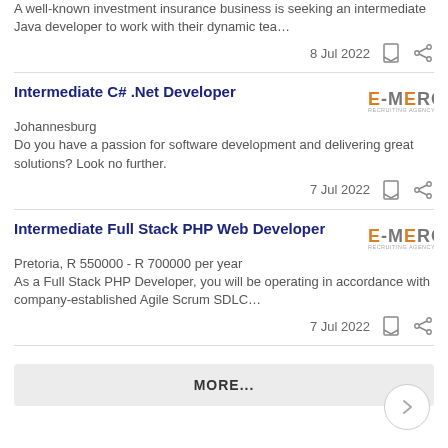A well-known investment insurance business is seeking an intermediate Java developer to work with their dynamic tea…
8 Jul 2022
Intermediate C# .Net Developer
[Figure (logo): EMERGE recruiting agency logo]
Johannesburg
Do you have a passion for software development and delivering great solutions? Look no further.
7 Jul 2022
Intermediate Full Stack PHP Web Developer
[Figure (logo): EMERGE recruiting agency logo]
Pretoria, R 550000 - R 700000 per year
As a Full Stack PHP Developer, you will be operating in accordance with company-established Agile Scrum SDLC…
7 Jul 2022
MORE...